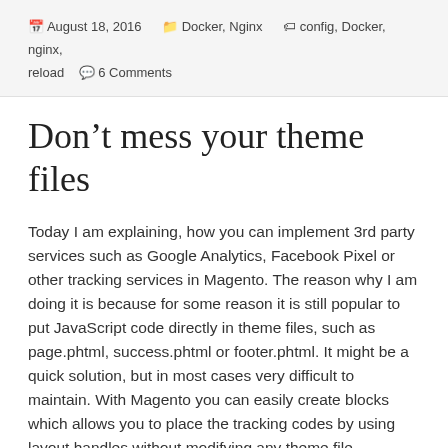August 18, 2016  Docker, Nginx  config, Docker, nginx, reload  6 Comments
Don’t mess your theme files
Today I am explaining, how you can implement 3rd party services such as Google Analytics, Facebook Pixel or other tracking services in Magento. The reason why I am doing it is because for some reason it is still popular to put JavaScript code directly in theme files, such as page.phtml, success.phtml or footer.phtml. It might be a quick solution, but in most cases very difficult to maintain. With Magento you can easily create blocks which allows you to place the tracking codes by using layout handles without modifying any theme file.
Here is one example that you can easily adapt for other